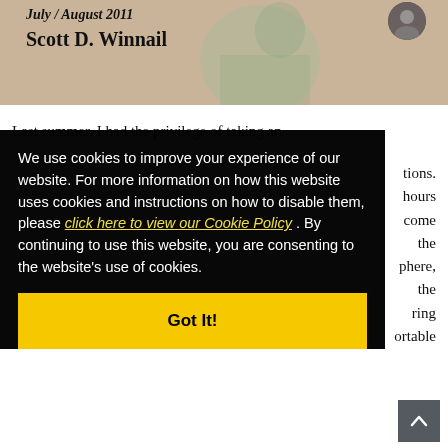July / August 2011
Scott D. Winnail
[Figure (photo): Header background image with muted tan/beige tones, faint figure illustration. Author avatar circle top right.]
Last summer, I had the privilege of taking an [obscured by overlay] tions. [obscured] hours [obscured] come [obscured] the [obscured] phere, [obscured] the [obscured] ring [obscured] ortable
We use cookies to improve your experience of our website. For more information on how this website uses cookies and instructions on how to disable them, please click here to view our Cookie Policy . By continuing to use this website, you are consenting to the website's use of cookies.
Got It!